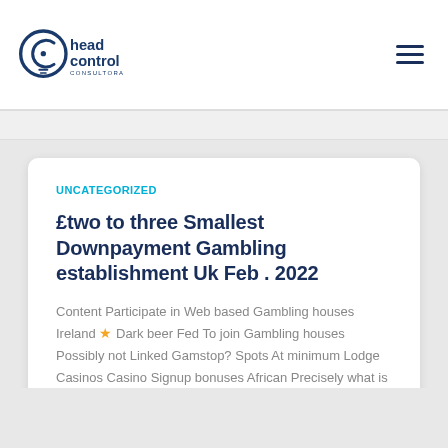[Figure (logo): Head Control Consultora logo - circular icon with letter C and lightbulb, text 'head control' in dark blue and 'CONSULTORA' below]
UNCATEGORIZED
£two to three Smallest Downpayment Gambling establishment Uk Feb . 2022
Content Participate in Web based Gambling houses Ireland ★ Dark beer Fed To join Gambling houses Possibly not Linked Gamstop? Spots At minimum Lodge Casinos Casino Signup bonuses African Precisely what is a Simply no Leer más...